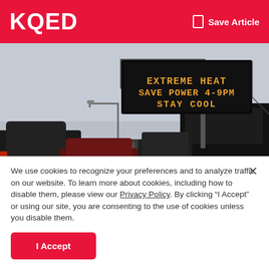KQED  Save Article
[Figure (photo): Highway traffic photo with an electronic freeway sign displaying 'EXTREME HEAT SAVE POWER 4-9PM STAY COOL' in orange LED text on black background. Multiple cars and SUVs visible in traffic lanes under an overcast sky.]
We use cookies to recognize your preferences and to analyze traffic on our website. To learn more about cookies, including how to disable them, please view our Privacy Policy. By clicking "I Accept" or using our site, you are consenting to the use of cookies unless you disable them.
I Accept